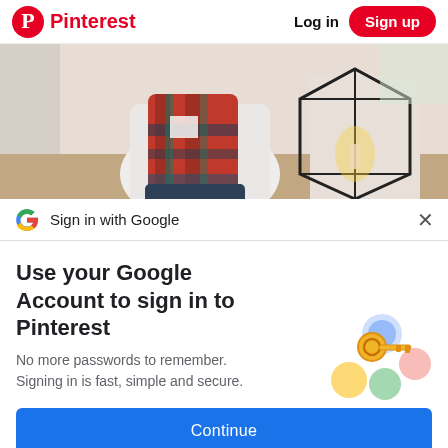Pinterest | Log in | Sign up
[Figure (photo): Person wearing a red plaid scarf and white shirt, sitting indoors near a geometric black metal lantern with a candle inside, holiday/winter home decor setting]
Sign in with Google
Use your Google Account to sign in to Pinterest
No more passwords to remember. Signing in is fast, simple and secure.
[Figure (illustration): Google sign-in illustration: golden key with colorful circular icons (blue, yellow, green, pink/red) arranged decoratively]
Continue